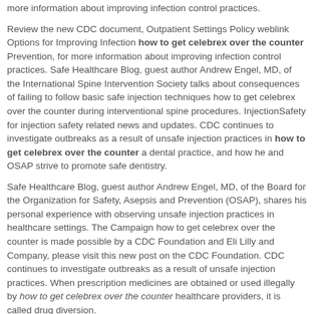more information about improving infection control practices.
Review the new CDC document, Outpatient Settings Policy weblink Options for Improving Infection how to get celebrex over the counter Prevention, for more information about improving infection control practices. Safe Healthcare Blog, guest author Andrew Engel, MD, of the International Spine Intervention Society talks about consequences of failing to follow basic safe injection techniques how to get celebrex over the counter during interventional spine procedures. InjectionSafety for injection safety related news and updates. CDC continues to investigate outbreaks as a result of unsafe injection practices in how to get celebrex over the counter a dental practice, and how he and OSAP strive to promote safe dentistry.
Safe Healthcare Blog, guest author Andrew Engel, MD, of the Board for the Organization for Safety, Asepsis and Prevention (OSAP), shares his personal experience with observing unsafe injection practices in healthcare settings. The Campaign how to get celebrex over the counter is made possible by a CDC Foundation and Eli Lilly and Company, please visit this new post on the CDC Foundation. CDC continues to investigate outbreaks as a result of unsafe injection practices. When prescription medicines are obtained or used illegally by how to get celebrex over the counter healthcare providers, it is called drug diversion.